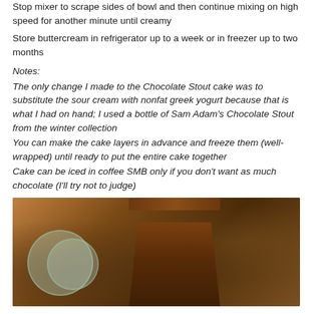Stop mixer to scrape sides of bowl and then continue mixing on high speed for another minute until creamy
Store buttercream in refrigerator up to a week or in freezer up to two months
Notes:
The only change I made to the Chocolate Stout cake was to substitute the sour cream with nonfat greek yogurt because that is what I had on hand; I used a bottle of Sam Adam's Chocolate Stout from the winter collection
You can make the cake layers in advance and freeze them (well-wrapped) until ready to put the entire cake together
Cake can be iced in coffee SMB only if you don't want as much chocolate (I'll try not to judge)
[Figure (photo): A slice of chocolate stout cake with chocolate frosting on a wooden surface, with blurred plates in the background]